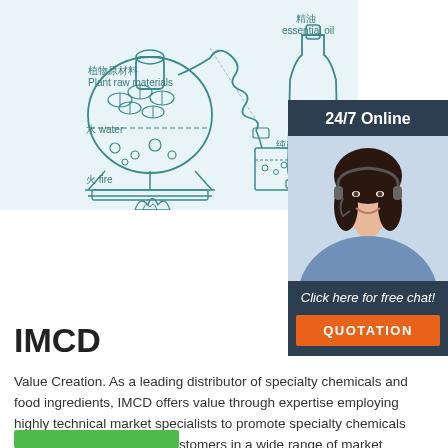[Figure (illustration): Diagram of plant distillation process showing a flask with plant raw materials (植物原材料 Plant raw materials), water (水 water), fire (火 fire) heating the flask, connected to a condenser coil, a collection bottle for essential oil (精油 essential oil), and a beaker collecting hydrosol (纯露 Hydrosol).]
[Figure (photo): 24/7 Online customer service chat widget showing a smiling woman with headset. Text: 'Click here for free chat!' and an orange QUOTATION button.]
IMCD
Value Creation. As a leading distributor of specialty chemicals and food ingredients, IMCD offers value through expertise employing highly technical market specialists to promote specialty chemicals from leading suppliers to customers in a wide range of market sectors. Read more.